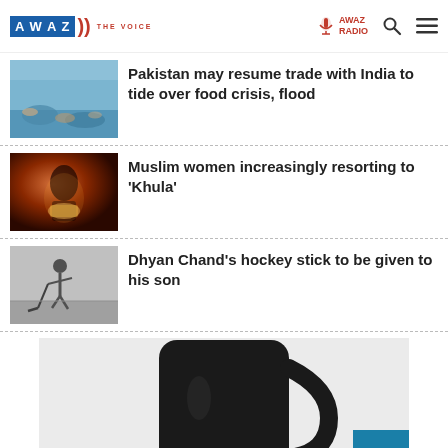AWAZ THE VOICE — AWAZ RADIO
[Figure (photo): Flood scene with people in water]
Pakistan may resume trade with India to tide over food crisis, flood
[Figure (photo): Muslim woman with Quran silhouette in warm orange/red tones]
Muslim women increasingly resorting to 'Khula'
[Figure (photo): Black and white photo of Dhyan Chand playing hockey]
Dhyan Chand's hockey stick to be given to his son
[Figure (photo): Black mug on white background with black object (likely pen/straw)]